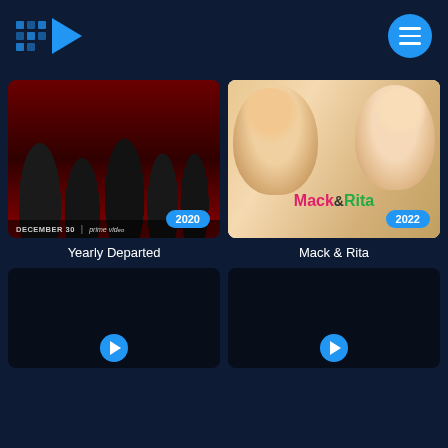[Figure (logo): Streaming app logo with blue dot grid and blue play arrow on dark navy background, with hamburger menu button on right]
[Figure (photo): Yearly Departed movie poster - group of women in black outfits in a dark setting. Badge shows DECEMBER 30 | prime video. Year badge: 2020]
Yearly Departed
[Figure (photo): Mack & Rita movie poster showing two women smiling. Title text Mack & Rita in pink and green. Year badge: 2022]
Mack & Rita
[Figure (photo): Dark movie thumbnail, partially visible, bottom cut off]
[Figure (photo): Dark movie thumbnail, partially visible, bottom cut off]